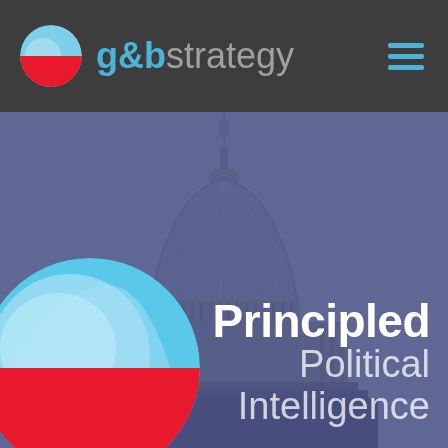[Figure (logo): g&b strategy logo with circular icon (light blue and red halves) and text 'g&b' in blue and 'strategy' in gray, with hamburger menu icon in blue on the right]
[Figure (photo): US Capitol Building dome photograph with blue-purple color overlay, with a large g&b strategy circular logo in the lower left and text overlay 'Principled Political Intelligence' on the right]